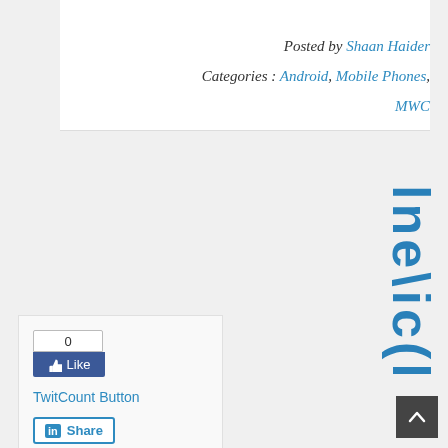Posted by Shaan Haider
Categories : Android, Mobile Phones, MWC
[Figure (screenshot): Social sharing widgets: Facebook Like button showing 0 likes, TwitCount Button link, and LinkedIn Share button]
[Figure (other): Back to top button (dark square with upward arrow)]